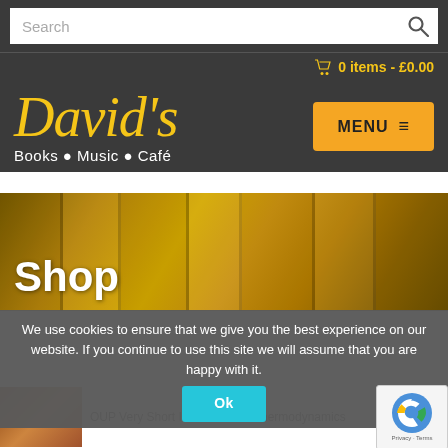Search
0 items - £0.00
[Figure (logo): David's Books Music Café logo in golden italic script on dark background]
MENU ≡
[Figure (photo): Hero banner image showing golden book spines background with 'Shop' title overlay]
Shop
We use cookies to ensure that we give you the best experience on our website. If you continue to use this site we will assume that you are happy with it.
Ok
OUP Very Short Introductions: Thermodynamics
[Figure (logo): reCAPTCHA logo with Privacy - Terms text]